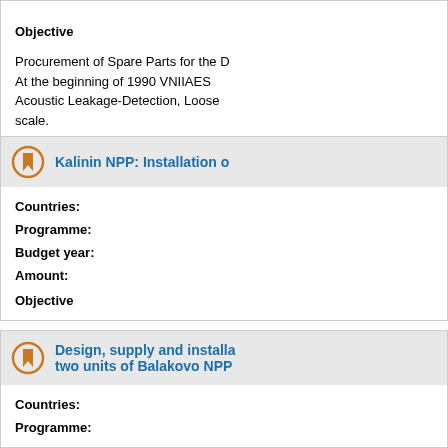Objective
Procurement of Spare Parts for the D...
At the beginning of 1990 VNIIAES...
Acoustic Leakage-Detection, Loose...
scale.
Kalinin NPP: Installation o...
Countries:
Programme:
Budget year:
Amount:
Objective
Design, supply and installa... two units of Balakovo NPP...
Countries:
Programme: